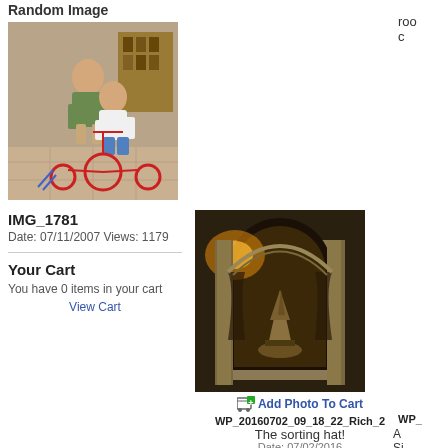Random Image
[Figure (photo): Two children, one riding a red tricycle indoors]
IMG_1781
Date: 07/11/2007 Views: 1179
Your Cart
You have 0 items in your cart
View Cart
roo
c
[Figure (photo): The sorting hat in a gothic archway, Harry Potter themed]
Add Photo To Cart
WP_20160702_09_18_22_Rich_2
The sorting hat!
Date: 07/02/2016
Views: 3547
WP_
A
Si
ou
[Figure (photo): Partially visible outdoor photo at bottom]